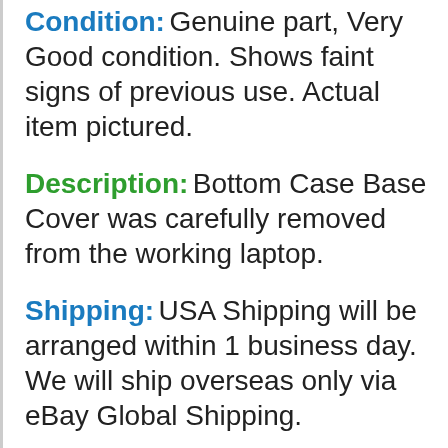Condition: Genuine part, Very Good condition. Shows faint signs of previous use. Actual item pictured.
Description: Bottom Case Base Cover was carefully removed from the working laptop.
Shipping: USA Shipping will be arranged within 1 business day. We will ship overseas only via eBay Global Shipping.